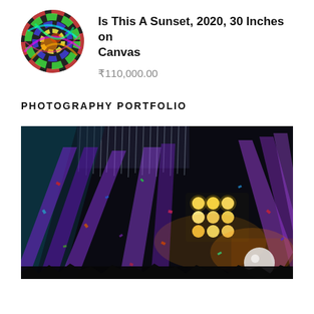[Figure (photo): Circular thumbnail of colorful abstract painting - Is This A Sunset, multicolored swirls on canvas]
Is This A Sunset, 2020, 30 Inches on Canvas
₹110,000.00
PHOTOGRAPHY PORTFOLIO
[Figure (photo): Concert photography showing stage with purple and blue spotlights, hanging crystal decorations, warm stage lights, and confetti falling over crowd]